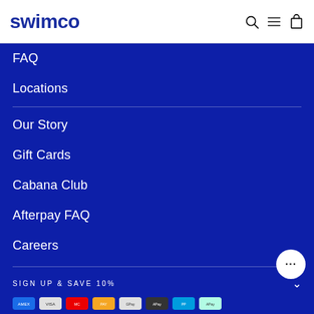swimco
FAQ
Locations
Our Story
Gift Cards
Cabana Club
Afterpay FAQ
Careers
SIGN UP & SAVE 10%